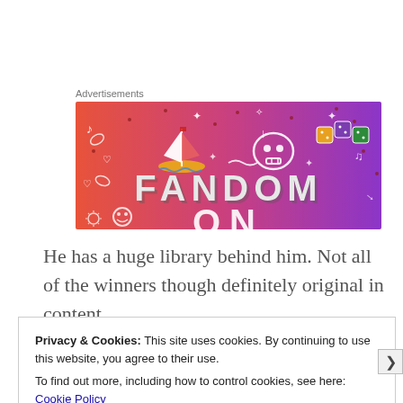Advertisements
[Figure (illustration): Fandom advertisement banner with gradient background from orange to purple, featuring doodle icons (sailboat, skull, dice, musical notes, hearts, arrows) and large text reading 'FANDOM ON']
He has a huge library behind him. Not all of the winners though definitely original in content
Privacy & Cookies: This site uses cookies. By continuing to use this website, you agree to their use.
To find out more, including how to control cookies, see here: Cookie Policy
Close and accept